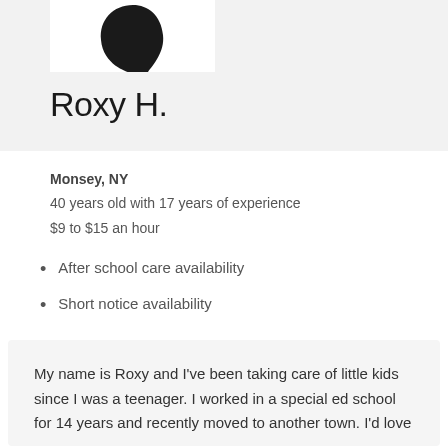[Figure (photo): Partial silhouette/photo of a person, cropped at top, showing dark shape against white background]
Roxy H.
Monsey, NY
40 years old with 17 years of experience
$9 to $15 an hour
After school care availability
Short notice availability
My name is Roxy and I've been taking care of little kids since I was a teenager. I worked in a special ed school for 14 years and recently moved to another town. I'd love